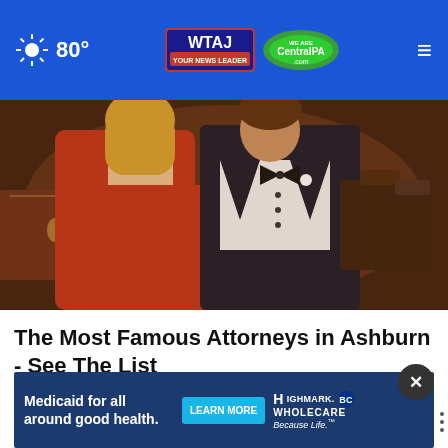80° WTAJ CentralPA.com
[Figure (photo): A couple at a formal event — woman in red strapless gown and man in black tuxedo with bow tie, event hall in background]
The Most Famous Attorneys in Ashburn - See The List
Top Attorney | Sponsored Links
[Figure (infographic): Advertisement banner: Medicaid for all around good health. LEARN MORE. Highmark WHOLECARE Because Life.]